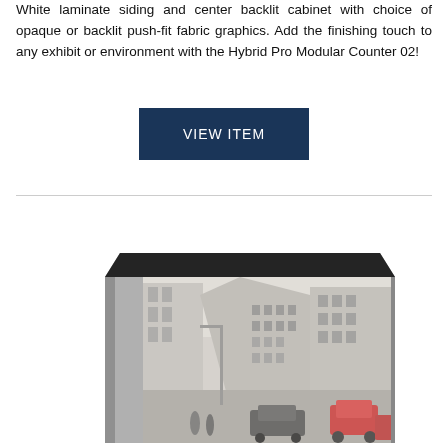White laminate siding and center backlit cabinet with choice of opaque or backlit push-fit fabric graphics. Add the finishing touch to any exhibit or environment with the Hybrid Pro Modular Counter 02!
VIEW ITEM
[Figure (photo): Product photo of Hybrid Pro Modular Counter 02 — a rectangular display counter with a dark top surface, grey side panel, and a fabric graphic wrap showing a black-and-white urban street scene with colorized red cars.]